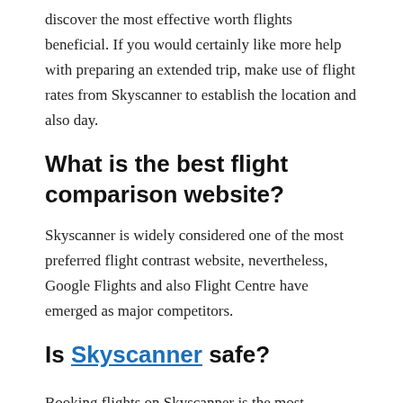discover the most effective worth flights beneficial. If you would certainly like more help with preparing an extended trip, make use of flight rates from Skyscanner to establish the location and also day.
What is the best flight comparison website?
Skyscanner is widely considered one of the most preferred flight contrast website, nevertheless, Google Flights and also Flight Centre have emerged as major competitors.
Is Skyscanner safe?
Booking flights on Skyscanner is the most trustworthy technique for on-line travel acquiring.
This post has references to products from one or more of our advertisers. We may receive compensation when you click on the